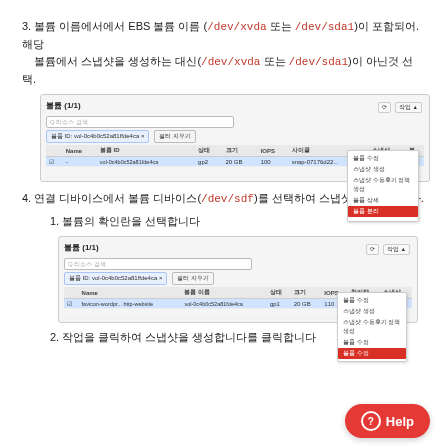3. 볼륨 이름에서에서 EBS 볼륨 이름 (/dev/xvda 또는 /dev/sda1)이 포함되어. 해당 볼륨에서 스냅샷을 생성하는 대신(/dev/xvda 또는 /dev/sda1)이 아닌것 선택.
[Figure (screenshot): AWS EC2 volumes console screenshot showing a volume list with a context menu open, highlighting '볼륨 분리' (Detach Volume) option in red.]
4. 연결 디바이스에서 볼륨 디바이스(/dev/sdf)를 선택하여 스냅샷를 생성합니다.
1. 볼륨의 확인란을 선택합니다
[Figure (screenshot): AWS EC2 volumes console screenshot showing a selected volume with context menu open, highlighting '볼륨 수정' option in red.]
2. 작업을 클릭하여 스냅샷을 생성합니다를 클릭합니다